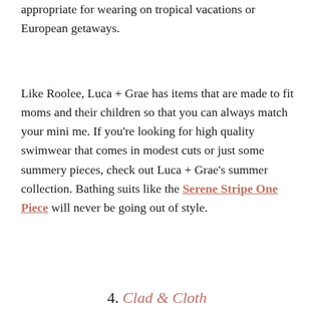appropriate for wearing on tropical vacations or European getaways.
Like Roolee, Luca + Grae has items that are made to fit moms and their children so that you can always match your mini me. If you're looking for high quality swimwear that comes in modest cuts or just some summery pieces, check out Luca + Grae's summer collection. Bathing suits like the Serene Stripe One Piece will never be going out of style.
4. Clad & Cloth